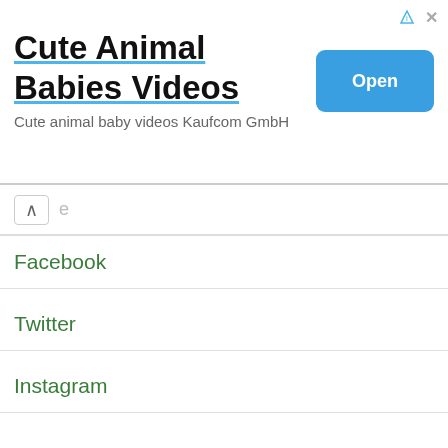[Figure (screenshot): Ad banner for 'Cute Animal Babies Videos' app with Open button]
Cute Animal Babies Videos
Cute animal baby videos Kaufcom GmbH
Open
Facebook
Twitter
Instagram
[Figure (logo): POWERED BY SUMO badge]
Rescued dogs and cats on Youtube
Follow their stories and watch them thrive
SUBSCRIBE NOW